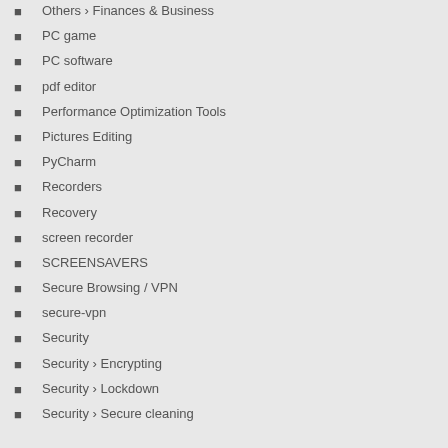Others › Finances & Business
PC game
PC software
pdf editor
Performance Optimization Tools
Pictures Editing
PyCharm
Recorders
Recovery
screen recorder
SCREENSAVERS
Secure Browsing / VPN
secure-vpn
Security
Security › Encrypting
Security › Lockdown
Security › Secure cleaning